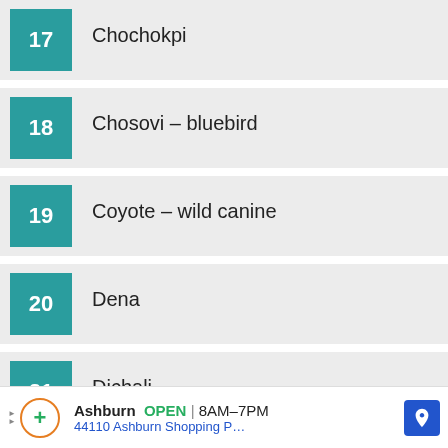17 Chochokpi
18 Chosovi – bluebird
19 Coyote – wild canine
20 Dena
21 Dichali
Ashburn OPEN 8AM–7PM 44110 Ashburn Shopping P…